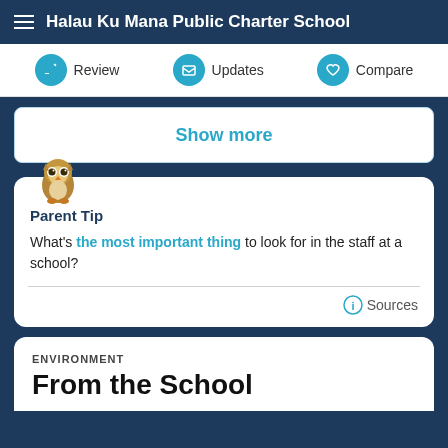Halau Ku Mana Public Charter School
Review | Updates | Compare
Show more
Parent Tip
What's the most important thing to look for in the staff at a school?
Sources
ENVIRONMENT
From the School